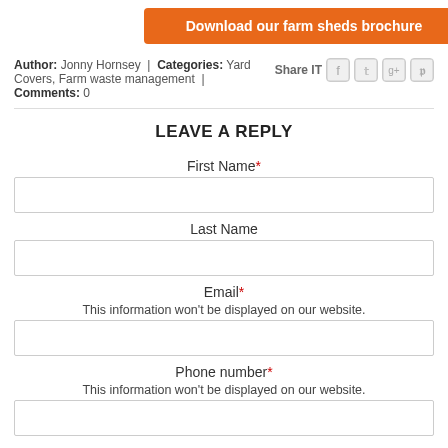[Figure (other): Orange button: Download our farm sheds brochure]
Author: Jonny Hornsey | Categories: Yard Covers, Farm waste management | Comments: 0   Share IT [facebook] [twitter] [google+] [pinterest]
LEAVE A REPLY
First Name*
Last Name
Email*
This information won't be displayed on our website.
Phone number*
This information won't be displayed on our website.